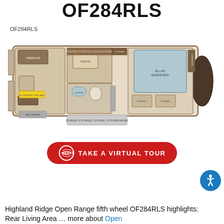OF284RLS
OF284RLS
[Figure (engineering-diagram): Floor plan diagram of Highland Ridge Open Range fifth wheel RV model OF284RLS showing top-down layout with rear living area, kitchen, bathroom, bedroom with queen bed, and storage areas]
[Figure (other): Red rounded rectangle button with 360 degree icon and text TAKE A VIRTUAL TOUR]
[Figure (other): Blue circular accessibility icon button]
Highland Ridge Open Range fifth wheel OF284RLS highlights: Rear Living Area … more about Open